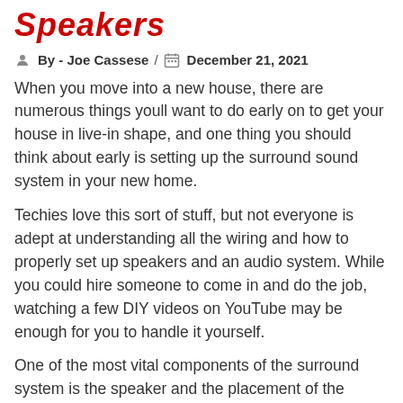Speakers
By - Joe Cassese/ December 21, 2021
When you move into a new house, there are numerous things youll want to do early on to get your house in live-in shape, and one thing you should think about early is setting up the surround sound system in your new home.
Techies love this sort of stuff, but not everyone is adept at understanding all the wiring and how to properly set up speakers and an audio system. While you could hire someone to come in and do the job, watching a few DIY videos on YouTube may be enough for you to handle it yourself.
One of the most vital components of the surround system is the speaker and the placement of the speakers around your media room is paramount in creating an ideal surround sound system